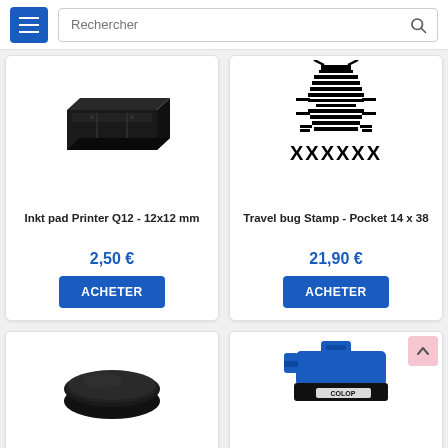Rechercher
[Figure (photo): Black ink pad / stamp pad box for Printer Q12]
Inkt pad Printer Q12 - 12x12 mm
2,50 €
ACHETER
[Figure (photo): Travel bug stamp icon with XXXXXX text, Pocket 14 x 38]
Travel bug Stamp - Pocket 14 x 38
21,90 €
ACHETER
[Figure (photo): Round black ink pad refill (partial, bottom of page)]
[Figure (photo): Blue COLOP stamp/stamper device (partial, bottom of page)]